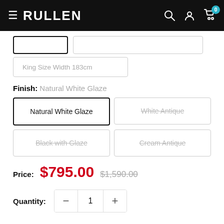RULLEN — navigation bar with hamburger menu, search, account, and cart icons
King Size Width 183cm
Finish: Natural White Glaze
Natural White Glaze (selected)
White Antique (unavailable)
Black with Glaze (unavailable)
Cream Antique (unavailable)
Price: $795.00  $1,590.00
Quantity: 1